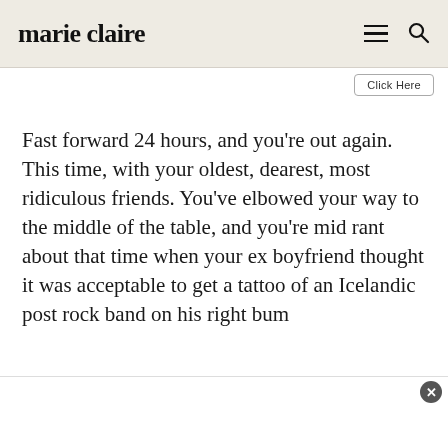marie claire
Click Here
Fast forward 24 hours, and you're out again. This time, with your oldest, dearest, most ridiculous friends. You've elbowed your way to the middle of the table, and you're mid rant about that time when your ex boyfriend thought it was acceptable to get a tattoo of an Icelandic post rock band on his right bum